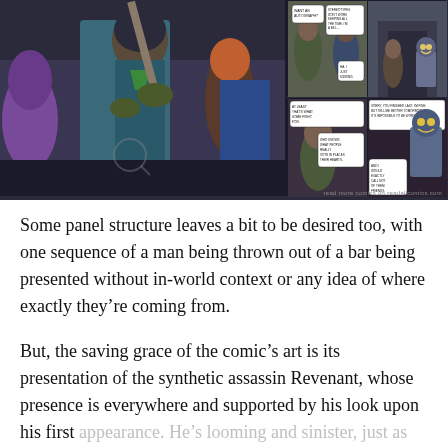[Figure (illustration): Comic book panels showing a man being thrown or fighting in a crowd (main large panel on left), with four smaller panels on the right showing characters with speech bubbles in various scenes including a hallway with a robot-like figure. Watermark reads 'read more comics on readallcomics.com']
Some panel structure leaves a bit to be desired too, with one sequence of a man being thrown out of a bar being presented without in-world context or any idea of where exactly they're coming from.
But, the saving grace of the comic's art is its presentation of the synthetic assassin Revenant, whose presence is everywhere and supported by his look upon his first appearance. He's looming and sinister, just as we know him.